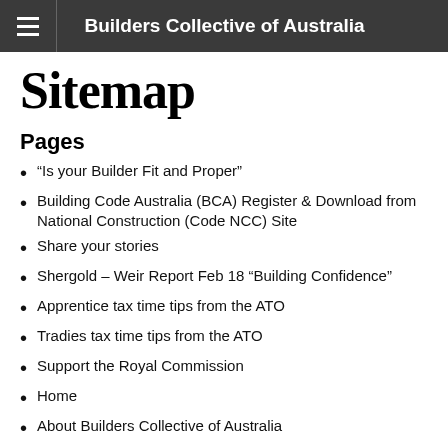Builders Collective of Australia
Sitemap
Pages
“Is your Builder Fit and Proper”
Building Code Australia (BCA) Register & Download from National Construction (Code NCC) Site
Share your stories
Shergold – Weir Report Feb 18 “Building Confidence”
Apprentice tax time tips from the ATO
Tradies tax time tips from the ATO
Support the Royal Commission
Home
About Builders Collective of Australia
Latest News
Practitioner disciplinary register
Resources